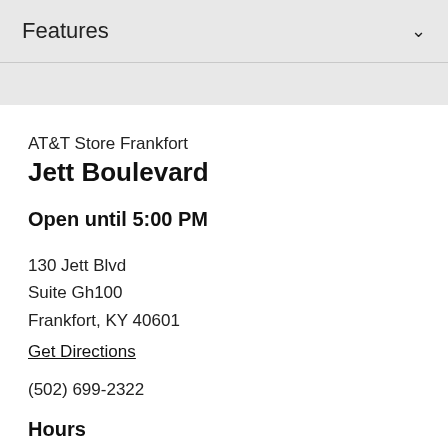Features
AT&T Store Frankfort Jett Boulevard
Open until 5:00 PM
130 Jett Blvd
Suite Gh100
Frankfort, KY 40601
Get Directions
(502) 699-2322
Hours